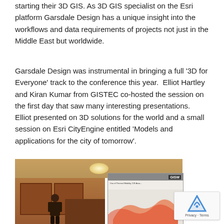starting their 3D GIS. As 3D GIS specialist on the Esri platform Garsdale Design has a unique insight into the workflows and data requirements of projects not just in the Middle East but worldwide.
Garsdale Design was instrumental in bringing a full ‘3D for Everyone’ track to the conference this year.  Elliot Hartley and Kiran Kumar from GISTEC co-hosted the session on the first day that saw many interesting presentations.  Elliot presented on 3D solutions for the world and a small session on Esri CityEngine entitled ‘Models and applications for the city of tomorrow’.
[Figure (photo): Conference room photo showing a presenter standing near a podium in a wood-paneled room, with a projection screen displaying a GIS map/presentation slide, and GISTEC branding visible.]